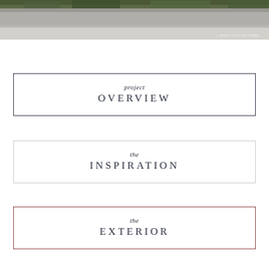[Figure (photo): Top portion of a building exterior with foliage/greenery visible at top, gray concrete facade and driveway below. Watermark reading 'BUILT CUSTOM HOMES' in bottom right.]
project OVERVIEW
the INSPIRATION
the EXTERIOR